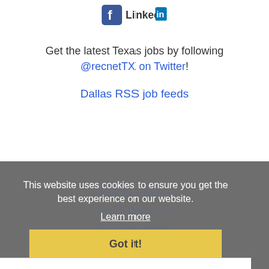[Figure (logo): Facebook and LinkedIn social media icons/logos]
Get the latest Texas jobs by following @recnetTX on Twitter!
Dallas RSS job feeds
This website uses cookies to ensure you get the best experience on our website.
Learn more
JOB SEEKERS
Search Dallas jobs
Post your resume
Email job alerts
Register / Log in
Got it!